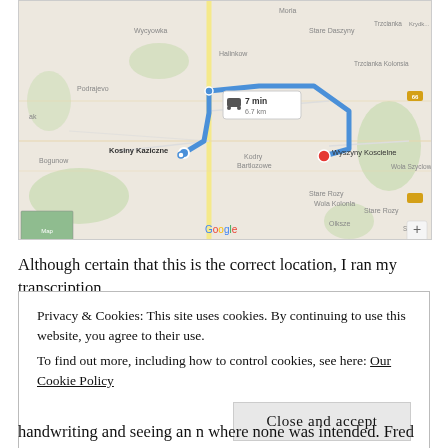[Figure (map): Google Maps screenshot showing a driving route from Kosiny Kaziczne to Wyszyny Koscielne, Poland. A blue route line is drawn between the two locations. A popup shows '7 min, 6.7 km'. The map shows surrounding villages including Wycyowka, Stare Daszyny, Trzcianka, Halinkow, Bogunow, Kodry Bartlozowe, Stare Rozy, Wola Kolonla, and others. Map controls and Google logo are visible.]
Although certain that this is the correct location, I ran my transcription
Privacy & Cookies: This site uses cookies. By continuing to use this website, you agree to their use.
To find out more, including how to control cookies, see here: Our Cookie Policy
Close and accept
handwriting and seeing an n where none was intended. Fred gave me